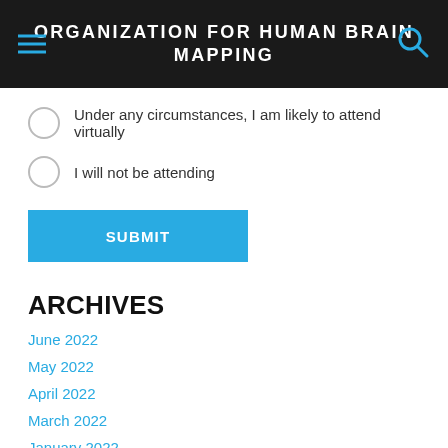ORGANIZATION FOR HUMAN BRAIN MAPPING
Under any circumstances, I am likely to attend virtually
I will not be attending
SUBMIT
ARCHIVES
June 2022
May 2022
April 2022
March 2022
January 2022
December 2021
November 2021
October 2021